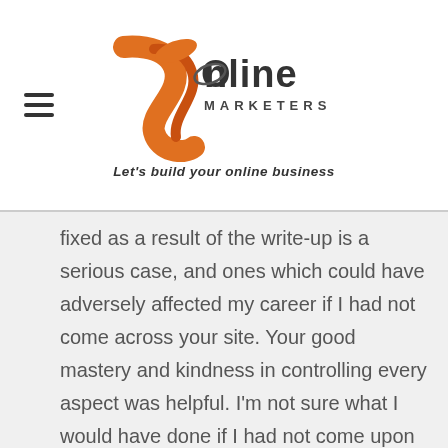[Figure (logo): JR Online Marketers logo with orange swoosh graphic and text 'Online Marketers' with tagline 'Let's build your online business']
fixed as a result of the write-up is a serious case, and ones which could have adversely affected my career if I had not come across your site. Your good mastery and kindness in controlling every aspect was helpful. I'm not sure what I would have done if I had not come upon such a thing like this. I am able to at this moment relish my future. Thanks a lot very much for this impressive and sensible help. I won't be reluctant to endorse your blog post to any individual who ought to have assistance on this topic.